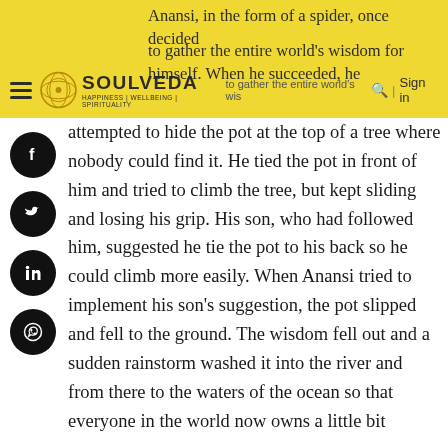Anansi, in the form of a spider, once decided to gather the entire world's wisdom for himself. When he succeeded, he
[Figure (logo): Soulveda logo with circular emblem and tagline HAPPINESS | WELLBEING | SPIRITUALITY, navigation bar with hamburger menu, search icon, and Sign in link on yellow background]
attempted to hide the pot at the top of a tree where nobody could find it. He tied the pot in front of him and tried to climb the tree, but kept sliding and losing his grip. His son, who had followed him, suggested he tie the pot to his back so he could climb more easily. When Anansi tried to implement his son's suggestion, the pot slipped and fell to the ground. The wisdom fell out and a sudden rainstorm washed it into the river and from there to the waters of the ocean so that everyone in the world now owns a little bit